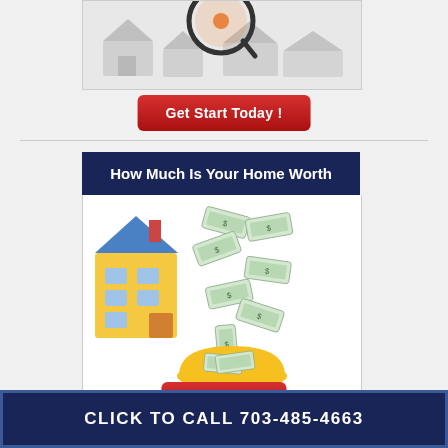[Figure (illustration): Partial view of a gray 3D house scene with magnifying glass, cropped at top]
Get Start Today!
[Figure (illustration): Banner with dark navy header reading 'How Much Is Your Home Worth' above an illustration of a yellow house with dollar bills falling into a yellow construction helmet]
Find Out!
CLICK TO CALL 703-485-4663